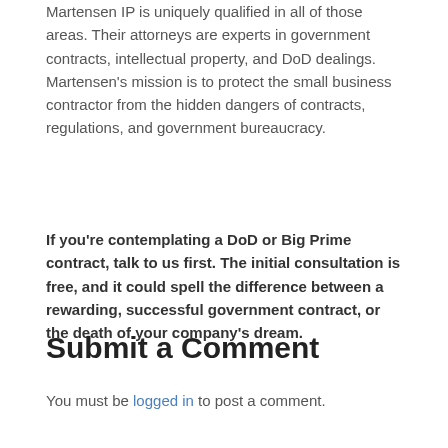Martensen IP is uniquely qualified in all of those areas. Their attorneys are experts in government contracts, intellectual property, and DoD dealings. Martensen's mission is to protect the small business contractor from the hidden dangers of contracts, regulations, and government bureaucracy.
If you're contemplating a DoD or Big Prime contract, talk to us first. The initial consultation is free, and it could spell the difference between a rewarding, successful government contract, or the death of your company's dream.
Submit a Comment
You must be logged in to post a comment.